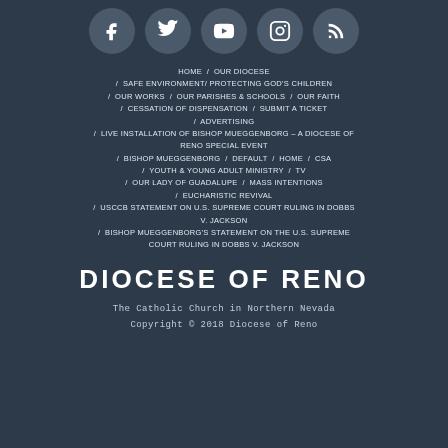[Figure (illustration): Five social media icons in dark grey circles: Facebook, Twitter, YouTube, Instagram, RSS feed]
HOME / OUR DIOCESE / SAFE ENVIRONMENT/ PROTECTING GOD'S CHILDREN / OUR WORKS / OUR PARISHES & SCHOOLS / OUR FAITH / CESSATION OF DISPENSATION / SUBMIT A TICKET / ADVERTISING / LIVE INSTALLATION OF BISHOP MUEGGENBORG – A DIOCESE OF RENO SPECIAL EVENT / BISHOP MUEGGENBORG / DEFAULT / HOME / CSA / YOUTH & YOUNG ADULT MINISTRY / TV / OUR LADY OF GUADALUPE / MASS INTENTIONS / EUCHARISTIC REVIVAL / USCCB STATEMENT ON U.S. SUPREME COURT RULING IN DOBBS V. JACKSON / BISHOP MUEGGENBORG'S STATEMENT ON THE U.S. SUPREME COURT RULING IN DOBBS V. JACKSON
DIOCESE OF RENO
The Catholic Church in Northern Nevada
Copyright © 2018 Diocese of Reno